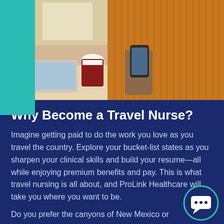[Figure (photo): Person in orange/mustard sweater sitting at a table holding a smartphone, with a coffee cup and tablet visible on the table]
Why Become a Travel Nurse?
Imagine getting paid to do the work you love as you travel the country. Explore your bucket-list states as you sharpen your clinical skills and build your resume—all while enjoying premium benefits and pay. This is what travel nursing is all about, and ProLink Healthcare will take you where you want to be.
Do you prefer the canyons of New Mexico or